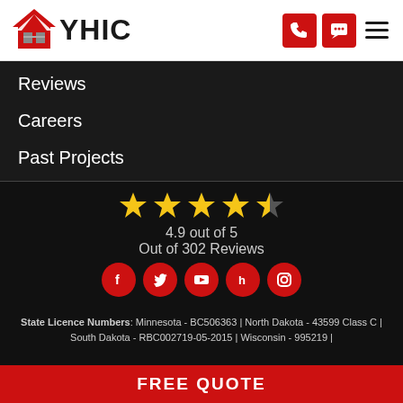[Figure (logo): YHIC logo with red house/chevron icon and bold text YHIC]
Reviews
Careers
Past Projects
[Figure (infographic): 4.5 star rating display showing 4 full gold stars and 1 half star, rating 4.9 out of 5, Out of 302 Reviews, with 5 social media icons (Facebook, Twitter, YouTube, Houzz, Instagram) in red circles]
State Licence Numbers: Minnesota - BC506363 | North Dakota - 43599 Class C | South Dakota - RBC002719-05-2015 | Wisconsin - 995219 |
FREE QUOTE